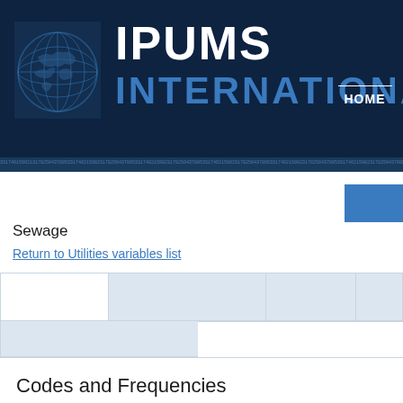IPUMS INTERNATIONAL
HOME
Sewage
Return to Utilities variables list
Codes and Frequencies